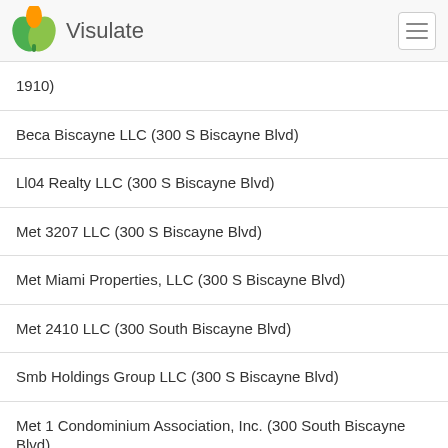Visulate
1910)
Beca Biscayne LLC (300 S Biscayne Blvd)
Ll04 Realty LLC (300 S Biscayne Blvd)
Met 3207 LLC (300 S Biscayne Blvd)
Met Miami Properties, LLC (300 S Biscayne Blvd)
Met 2410 LLC (300 South Biscayne Blvd)
Smb Holdings Group LLC (300 S Biscayne Blvd)
Met 1 Condominium Association, Inc. (300 South Biscayne Blvd)
Gpx Lab LLC (300 South Biscayne Blvd)
Elorduy 3608 LLC (300 South Biscayne Blvd)